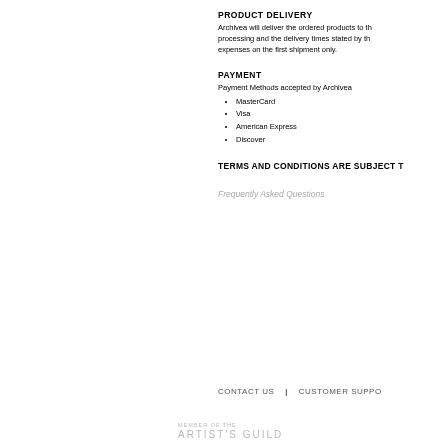PRODUCT DELIVERY
Archivea will deliver the ordered products to th... processing and the delivery times stated by th... expenses on the first shipment only.
PAYMENT
Payment Methods accepted by Archivea
MasterCard
Visa
American Express
Discover
TERMS AND CONDITIONS ARE SUBJECT T...
Frequently Asked Questions
CONTACT US  |  CUSTOMER SUPPO...
MEMBER OF THE
ARTIST'S GUILD